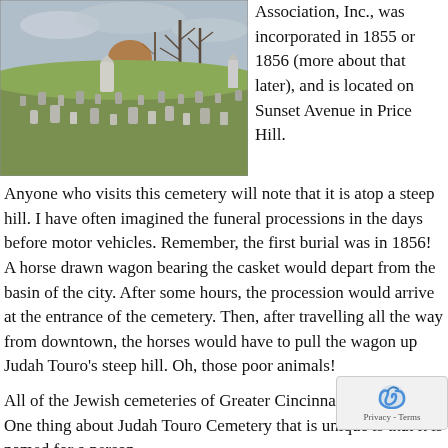[Figure (photo): Photograph of a Jewish cemetery with many gravestones scattered across a grassy hill, bare trees in background, overcast sky]
Association, Inc., was incorporated in 1855 or 1856 (more about that later), and is located on Sunset Avenue in Price Hill. Anyone who visits this cemetery will note that it is atop a steep hill. I have often imagined the funeral processions in the days before motor vehicles. Remember, the first burial was in 1856! A horse drawn wagon bearing the casket would depart from the basin of the city. After some hours, the procession would arrive at the entrance of the cemetery. Then, after travelling all the way from downtown, the horses would have to pull the wagon up Judah Touro’s steep hill. Oh, those poor animals!
All of the Jewish cemeteries of Greater Cincinnati are different. One thing about Judah Touro Cemetery that is unique is that it is named for a person.